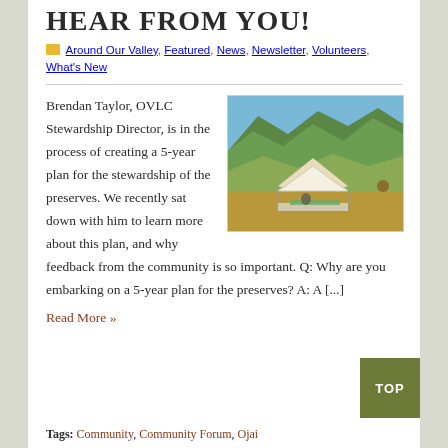HEAR FROM YOU!
Around Our Valley, Featured, News, Newsletter, Volunteers, What's New
[Figure (photo): Outdoor scene showing green mountainous hills with dry grass vegetation, a white canopy tent set up on a dirt path, and a blue sky. Appears to be a preserve or wilderness area.]
Brendan Taylor, OVLC Stewardship Director, is in the process of creating a 5-year plan for the stewardship of the preserves. We recently sat down with him to learn more about this plan, and why feedback from the community is so important. Q: Why are you embarking on a 5-year plan for the preserves? A: A [...]
Read More »
Tags: Community, Community Forum, Ojai